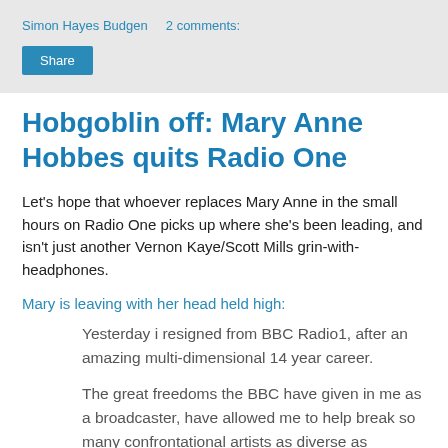Simon Hayes Budgen   2 comments:
Hobgoblin off: Mary Anne Hobbes quits Radio One
Let's hope that whoever replaces Mary Anne in the small hours on Radio One picks up where she's been leading, and isn't just another Vernon Kaye/Scott Mills grin-with-headphones.
Mary is leaving with her head held high:
Yesterday i resigned from BBC Radio1, after an amazing multi-dimensional 14 year career.
The great freedoms the BBC have given in me as a broadcaster, have allowed me to help break so many confrontational artists as diverse as